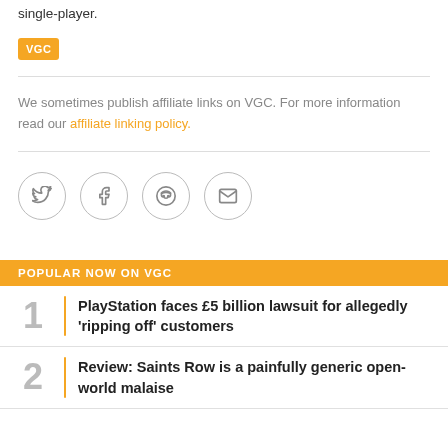single-player.
[Figure (logo): VGC orange badge/logo]
We sometimes publish affiliate links on VGC. For more information read our affiliate linking policy.
[Figure (infographic): Social sharing icons: Twitter, Facebook, Reddit, Email in circular borders]
POPULAR NOW ON VGC
1  PlayStation faces £5 billion lawsuit for allegedly 'ripping off' customers
2  Review: Saints Row is a painfully generic open-world malaise